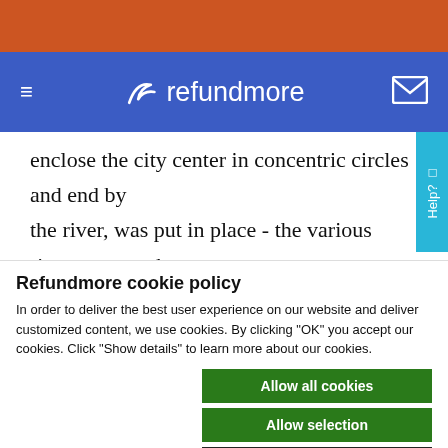refundmore navigation bar
enclose the city center in concentric circles and end by the river, was put in place - the various rivers were to be used for defense and different business purposes.
Refundmore cookie policy
In order to deliver the best user experience on our website and deliver customized content, we use cookies. By clicking "OK" you accept our cookies. Click "Show details" to learn more about our cookies.
Allow all cookies | Allow selection | Use necessary cookies only
Necessary | Preferences | Statistics | Marketing | Show details